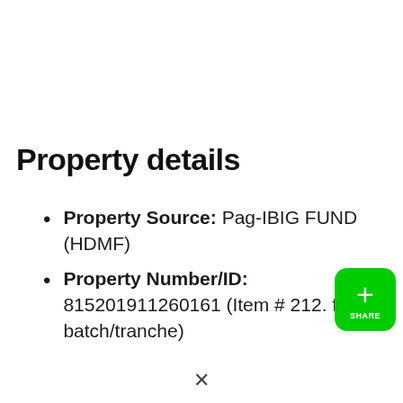Property details
Property Source: Pag-IBIG FUND (HDMF)
Property Number/ID: 815201911260161 (Item # 212. f this batch/tranche)